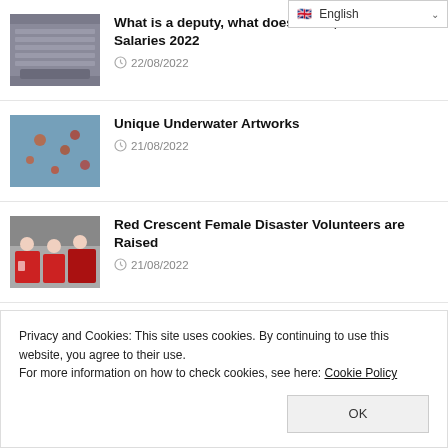English
[Figure (photo): Crowded stadium or parliament hall with many people]
What is a deputy, what does he do, how to be? MP Salaries 2022
22/08/2022
[Figure (photo): Colorful underwater or aerial scene with scattered objects]
Unique Underwater Artworks
21/08/2022
[Figure (photo): Red Crescent volunteers in red uniforms at a disaster scene]
Red Crescent Female Disaster Volunteers are Raised
21/08/2022
Privacy and Cookies: This site uses cookies. By continuing to use this website, you agree to their use.
For more information on how to check cookies, see here: Cookie Policy